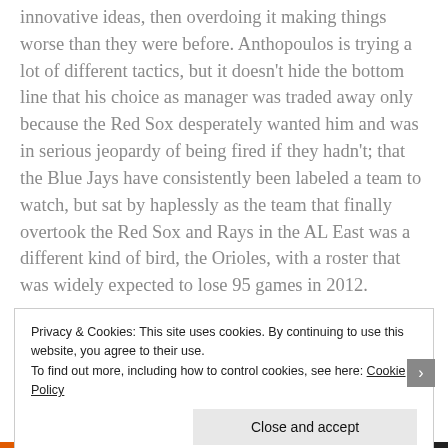innovative ideas, then overdoing it making things worse than they were before. Anthopoulos is trying a lot of different tactics, but it doesn't hide the bottom line that his choice as manager was traded away only because the Red Sox desperately wanted him and was in serious jeopardy of being fired if they hadn't; that the Blue Jays have consistently been labeled a team to watch, but sat by haplessly as the team that finally overtook the Red Sox and Rays in the AL East was a different kind of bird, the Orioles, with a roster that was widely expected to lose 95 games in 2012.
Privacy & Cookies: This site uses cookies. By continuing to use this website, you agree to their use. To find out more, including how to control cookies, see here: Cookie Policy
Close and accept